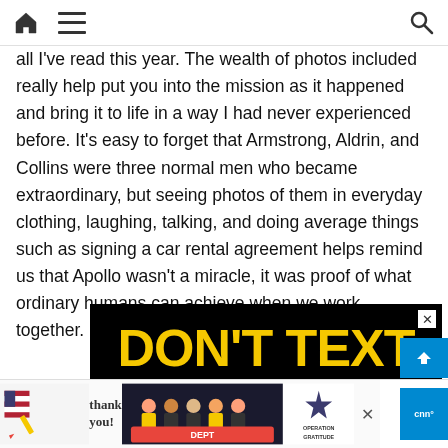Home | Menu | Search
all I've read this year. The wealth of photos included really help put you into the mission as it happened and bring it to life in a way I had never experienced before. It's easy to forget that Armstrong, Aldrin, and Collins were three normal men who became extraordinary, but seeing photos of them in everyday clothing, laughing, talking, and doing average things such as signing a car rental agreement helps remind us that Apollo wasn't a miracle, it was proof of what ordinary humans can achieve when we work together.
[Figure (other): Advertisement banner showing 'DON'T TEXT AND' in large bold yellow and cyan letters on a black background with a cartoon robot graphic]
[Figure (other): Bottom banner advertisement for Operation Gratitude featuring a 'Thank you!' handwritten message with a firefighter group photo and Operation Gratitude logo]